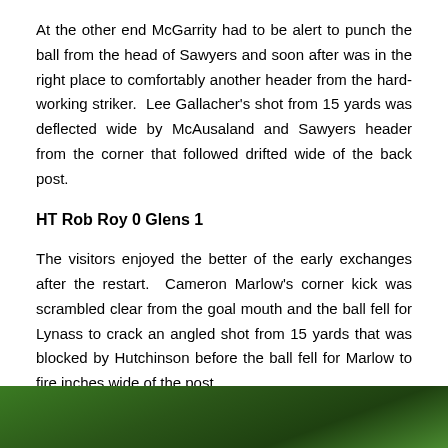At the other end McGarrity had to be alert to punch the ball from the head of Sawyers and soon after was in the right place to comfortably another header from the hard-working striker.  Lee Gallacher's shot from 15 yards was deflected wide by McAusaland and Sawyers header from the corner that followed drifted wide of the back post.
HT Rob Roy 0 Glens 1
The visitors enjoyed the better of the early exchanges after the restart.  Cameron Marlow's corner kick was scrambled clear from the goal mouth and the ball fell for Lynass to crack an angled shot from 15 yards that was blocked by Hutchinson before the ball fell for Marlow to fire inches wide of the post.
[Figure (photo): Partial view of a football/soccer match photo, showing green pitch and players, cropped at bottom of page]